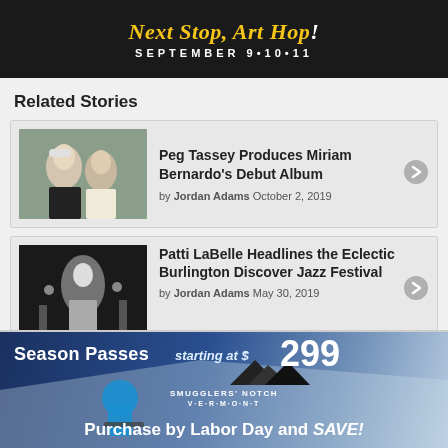[Figure (infographic): Dark banner ad: 'Next Stop, Art Hop!' in yellow italic text, 'SEPTEMBER 9·10·11' in white spaced letters]
Related Stories
[Figure (photo): Two women smiling outdoors, one with white hair]
Peg Tassey Produces Miriam Bernardo's Debut Album
by Jordan Adams October 2, 2019
[Figure (photo): Black and white concert performance photo]
Patti LaBelle Headlines the Eclectic Burlington Discover Jazz Festival
by Jordan Adams May 30, 2019
[Figure (infographic): Smugglers' Notch Vermont ski ad: 'Season Passes starting at $299 — Purchase by Labor Day and SAVE!']